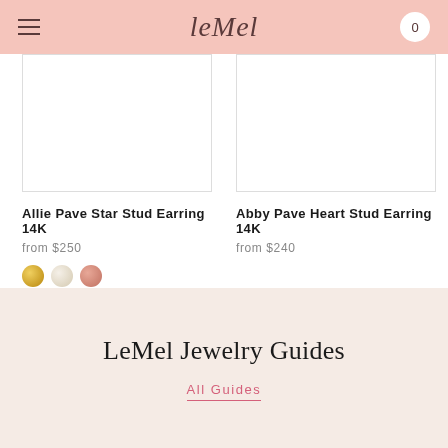leMel
[Figure (photo): Product image placeholder for Allie Pave Star Stud Earring 14K]
Allie Pave Star Stud Earring 14K
from $250
[Figure (photo): Product image placeholder for Abby Pave Heart Stud Earring 14K]
Abby Pave Heart Stud Earring 14K
from $240
LeMel Jewelry Guides
All Guides